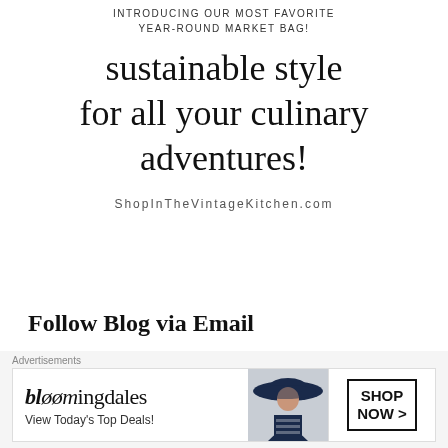INTRODUCING OUR MOST FAVORITE
YEAR-ROUND MARKET BAG!
sustainable style for all your culinary adventures!
ShopInTheVintageKitchen.com
Follow Blog via Email
Enter your email address to follow this blog and receive notifications of new posts by email.
[Figure (screenshot): Bloomingdale's advertisement banner showing a woman in a floppy hat, with text 'View Today's Top Deals!' and a 'SHOP NOW >' button]